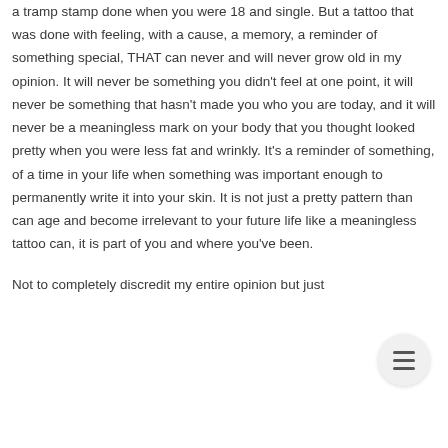a tramp stamp done when you were 18 and single. But a tattoo that was done with feeling, with a cause, a memory, a reminder of something special, THAT can never and will never grow old in my opinion. It will never be something you didn't feel at one point, it will never be something that hasn't made you who you are today, and it will never be a meaningless mark on your body that you thought looked pretty when you were less fat and wrinkly. It's a reminder of something, of a time in your life when something was important enough to permanently write it into your skin. It is not just a pretty pattern than can age and become irrelevant to your future life like a meaningless tattoo can, it is part of you and where you've been.
Not to completely discredit my entire opinion but just